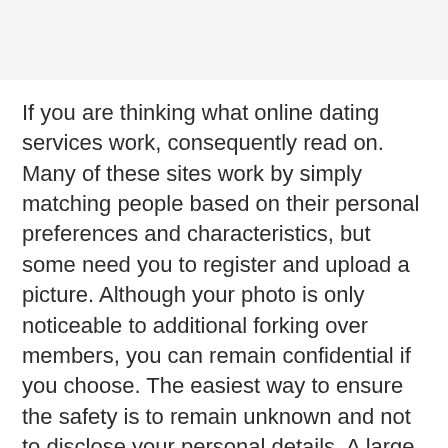If you are thinking what online dating services work, consequently read on. Many of these sites work by simply matching people based on their personal preferences and characteristics, but some need you to register and upload a picture. Although your photo is only noticeable to additional forking over members, you can remain confidential if you choose. The easiest way to ensure the safety is to remain unknown and not to disclose your personal details. A large number of services also let you keep your background picture non-public, so that additional members can easily judge if you are compatible.